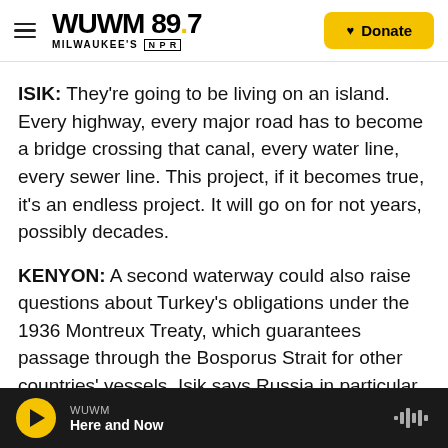WUWM 89.7 MILWAUKEE'S NPR | Donate
ISIK: They're going to be living on an island. Every highway, every major road has to become a bridge crossing that canal, every water line, every sewer line. This project, if it becomes true, it's an endless project. It will go on for not years, possibly decades.
KENYON: A second waterway could also raise questions about Turkey's obligations under the 1936 Montreux Treaty, which guarantees passage through the Bosporus Strait for other countries' vessels. Isik says Russia in particular won't stand for any changes to those rules. Erdogan, who's
WUWM — Here and Now